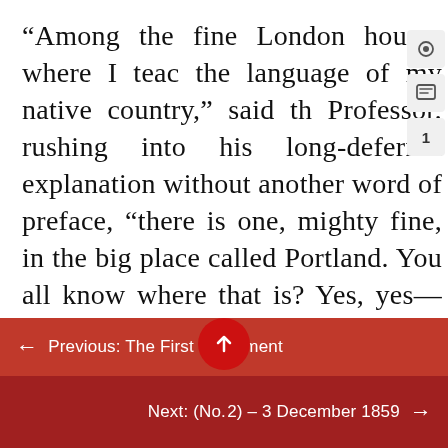“Among the fine London houses where I teach the language of my native country,” said the Professor, rushing into his long-deferred explanation without another word of preface, “there is one, mighty fine, in the big place called Portland. You all know where that is? Yes, yes— course-of-course. The fine house, my good dears, has got inside it a fine family. A Mamma, fair and fat; three young Misses, fair and fat; two young Misters, fair and fat; and a Papa, the fairest and the fattest of all, who is a mighty merchant, up to his eyes in gold— a fine man once, but seeing that he
Previous: The First Installment
Next: (No. 2) – 3 December 1859